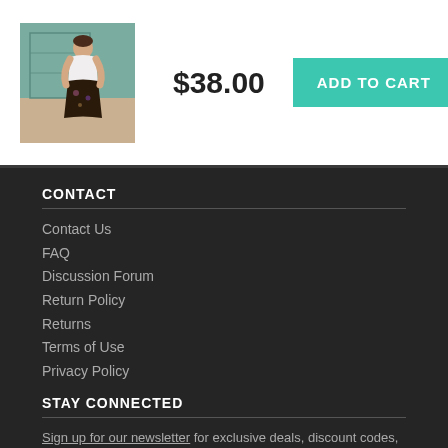[Figure (photo): Product image showing a woman in a vintage-style outfit with a white top and dark floral skirt, standing against a teal/green wall background]
$38.00
ADD TO CART
CONTACT
Contact Us
FAQ
Discussion Forum
Return Policy
Returns
Terms of Use
Privacy Policy
STAY CONNECTED
Sign up for our newsletter for exclusive deals, discount codes, and more.
[Figure (illustration): Row of social media icons: Facebook, Twitter, Instagram, Pinterest, YouTube]